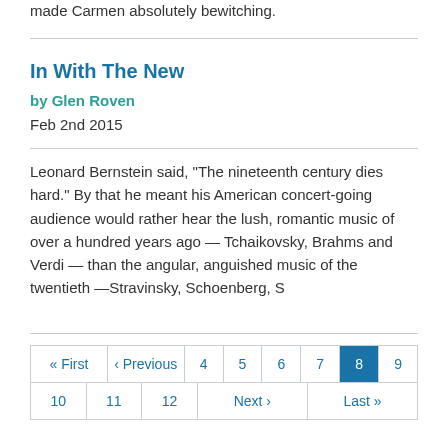made Carmen absolutely bewitching.
In With The New
by Glen Roven
Feb 2nd 2015
Leonard Bernstein said, “The nineteenth century dies hard.” By that he meant his American concert-going audience would rather hear the lush, romantic music of over a hundred years ago — Tchaikovsky, Brahms and Verdi — than the angular, anguished music of the twentieth —Stravinsky, Schoenberg, S
| « First | ‹ Previous | 4 | 5 | 6 | 7 | 8 | 9 |
| 10 | 11 | 12 | Next › | Last » |